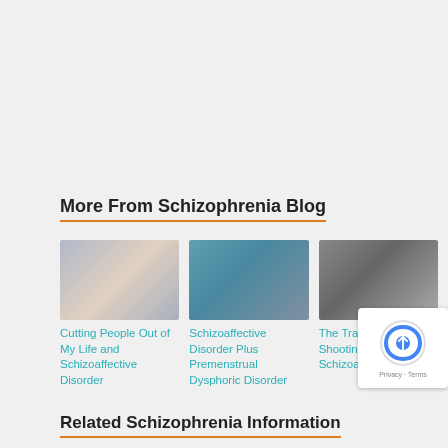More From Schizophrenia Blog
[Figure (photo): Two people looking distressed, woman with hand on head]
[Figure (photo): Person with head bowed, bending over in distress]
[Figure (photo): Black and white photo of child sitting alone against wall]
Cutting People Out of My Life and Schizoaffective Disorder
Schizoaffective Disorder Plus Premenstrual Dysphoric Disorder
The Trauma of a Mass Shooting with Schizoaffec Anxiety
Related Schizophrenia Information